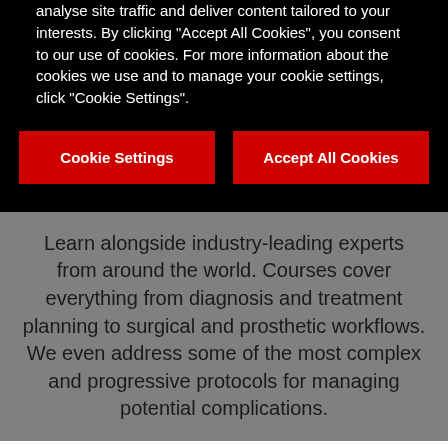analyse site traffic and deliver content tailored to your interests. By clicking "Accept All Cookies", you consent to our use of cookies. For more information about the cookies we use and to manage your cookie settings, click "Cookie Settings".
Cookie Settings
Accept All Cookies
Learn alongside industry-leading experts from around the world. Courses cover everything from diagnosis and treatment planning to surgical and prosthetic workflows. We even address some of the most complex and progressive protocols for managing potential complications.